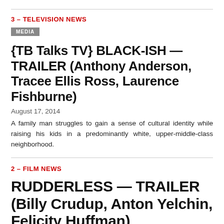3 – TELEVISION NEWS
MEDIA
{TB Talks TV} BLACK-ISH — TRAILER (Anthony Anderson, Tracee Ellis Ross, Laurence Fishburne)
August 17, 2014
A family man struggles to gain a sense of cultural identity while raising his kids in a predominantly white, upper-middle-class neighborhood.
2 – FILM NEWS
RUDDERLESS — TRAILER (Billy Crudup, Anton Yelchin, Felicity Huffman)
August 14, 2014